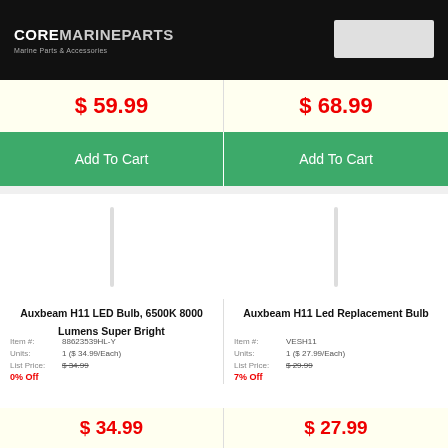COREMARINEPARTS Marine Parts & Accessories
$ 59.99
Add To Cart
$ 68.99
Add To Cart
Auxbeam H11 LED Bulb, 6500K 8000 Lumens Super Bright
Item #: 88623539HL-Y
Units: 1 ($ 34.99/Each)
List Price: $ 34.99
0% Off
Auxbeam H11 Led Replacement Bulb
Item #: VESH11
Units: 1 ($ 27.99/Each)
List Price: $ 29.99
7% Off
$ 34.99
$ 27.99